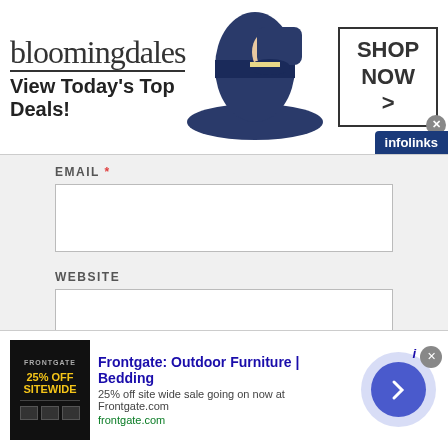[Figure (screenshot): Bloomingdales banner ad with woman in hat, 'View Today's Top Deals!' text, and 'SHOP NOW >' button]
EMAIL *
WEBSITE
SAVE MY NAME, EMAIL, AND WEBSITE IN THIS BROWSER FOR THE NEXT TIME I COMMENT.
[Figure (screenshot): Frontgate: Outdoor Furniture | Bedding ad - 25% off site wide sale going on now at Frontgate.com]